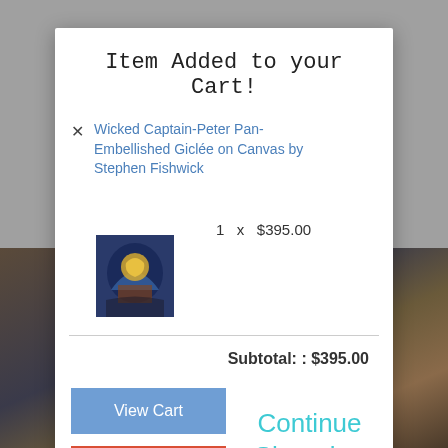Item Added to your Cart!
Wicked Captain-Peter Pan-Embellished Giclée on Canvas by Stephen Fishwick
1  x  $395.00
Subtotal: : $395.00
View Cart
Checkout
Continue Shopping